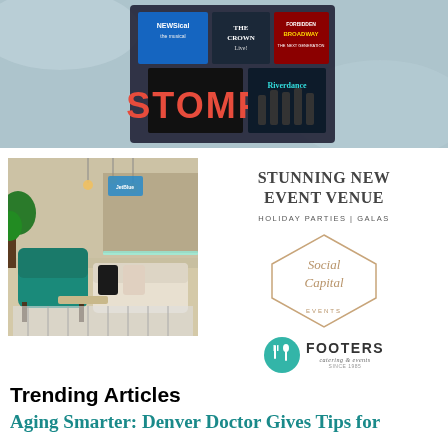[Figure (photo): Top banner image showing theatre show posters including NEWSical, The Crown Live, Forbidden Broadway, STOMP, and Riverdance on a grey icy background]
[Figure (photo): Interior photo of a modern event venue with teal velvet chairs, white sofas, pendant lights, and a bar area]
STUNNING NEW EVENT VENUE
HOLIDAY PARTIES | GALAS
[Figure (logo): Social Capital Events logo - cursive script text inside a hexagon shape]
[Figure (logo): Footers Catering & Events logo - teal circle with fork and spoon icon, bold FOOTERS text]
Trending Articles
Aging Smarter: Denver Doctor Gives Tips for